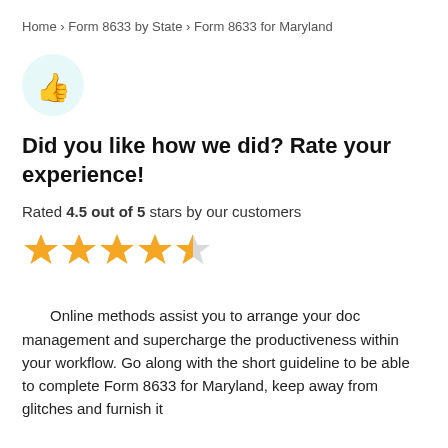Home › Form 8633 by State › Form 8633 for Maryland
[Figure (illustration): Thumbs up emoji icon in a light teal/mint circle]
Did you like how we did? Rate your experience!
Rated 4.5 out of 5 stars by our customers
[Figure (other): 4.5 out of 5 star rating displayed as four full golden stars and one half golden star]
Online methods assist you to arrange your doc management and supercharge the productiveness within your workflow. Go along with the short guideline to be able to complete Form 8633 for Maryland, keep away from glitches and furnish it